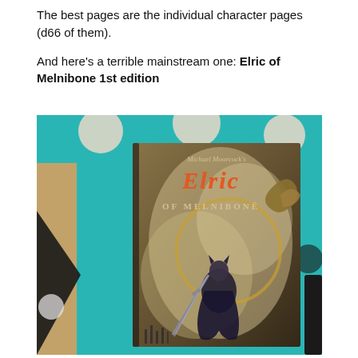The best pages are the individual character pages (d66 of them).
And here's a terrible mainstream one: Elric of Melnibone 1st edition
[Figure (photo): A photo of the Elric of Melnibone 1st edition RPG book cover, showing a dark fantasy warrior holding a large sword, with a dragon in the background, placed on a teal surface with polka dot pattern. The book cover reads 'Michael Moorcock's Elric of Melnibone' in stylized lettering.]